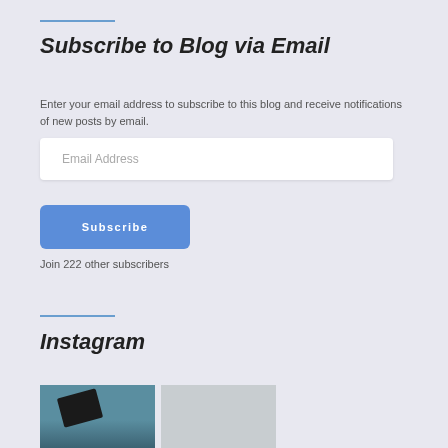Subscribe to Blog via Email
Enter your email address to subscribe to this blog and receive notifications of new posts by email.
Email Address
Subscribe
Join 222 other subscribers
Instagram
[Figure (photo): Instagram photos showing machinery/equipment on water and a bright white surface]